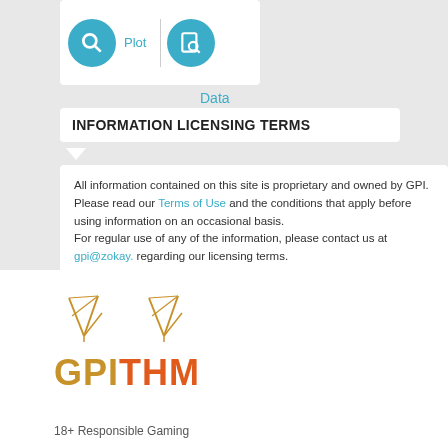[Figure (screenshot): UI icons with search/plot icons and a 'Data' label]
INFORMATION LICENSING TERMS
All information contained on this site is proprietary and owned by GPI. Please read our Terms of Use and the conditions that apply before using information on an occasional basis. For regular use of any of the information, please contact us at gpi@zokay. regarding our licensing terms.
[Figure (logo): GPI THM logo with two stylized leaf/arrow icons above the text. GPI in gold/orange, THM in orange-red.]
18+ Responsible Gaming